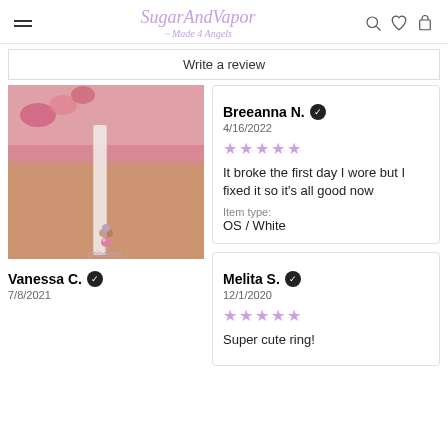SugarAndVapor - Made 4 Angels
Write a review
[Figure (photo): Photo of person's torso wearing a belly button ring with pink gem tiara charm, and pink lace lingerie, with a clear plastic strip]
Vanessa C. ✓
7/8/2021
Breeanna N. ✓
4/16/2022
★★★★★
It broke the first day I wore but I fixed it so it's all good now
Item type:
OS / White
Melita S. ✓
12/1/2020
★★★★★
Super cute ring!